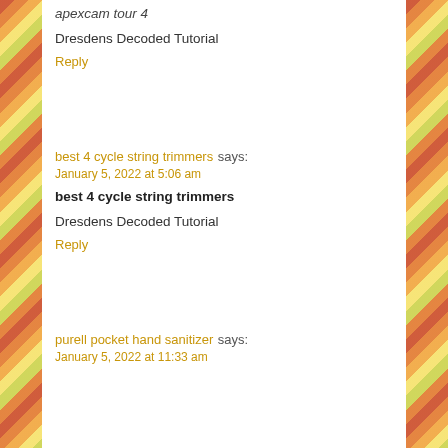apexcam tour 4
Dresdens Decoded Tutorial
Reply
best 4 cycle string trimmers says:
January 5, 2022 at 5:06 am
best 4 cycle string trimmers
Dresdens Decoded Tutorial
Reply
purell pocket hand sanitizer says:
January 5, 2022 at 11:33 am